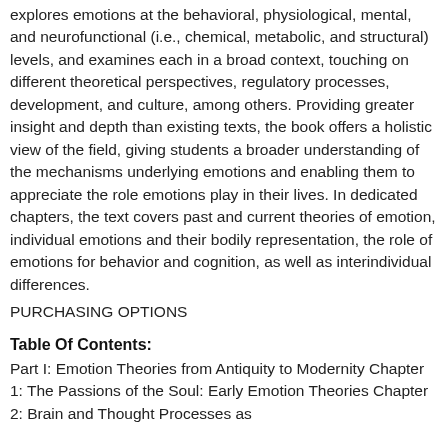explores emotions at the behavioral, physiological, mental, and neurofunctional (i.e., chemical, metabolic, and structural) levels, and examines each in a broad context, touching on different theoretical perspectives, regulatory processes, development, and culture, among others. Providing greater insight and depth than existing texts, the book offers a holistic view of the field, giving students a broader understanding of the mechanisms underlying emotions and enabling them to appreciate the role emotions play in their lives. In dedicated chapters, the text covers past and current theories of emotion, individual emotions and their bodily representation, the role of emotions for behavior and cognition, as well as interindividual differences.
PURCHASING OPTIONS
Table Of Contents:
Part I: Emotion Theories from Antiquity to Modernity Chapter 1: The Passions of the Soul: Early Emotion Theories Chapter 2: Brain and Thought Processes as